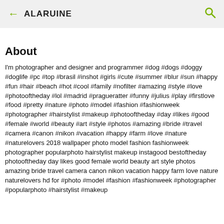← ALARUINE 🔍
About
I'm photographer and designer and programmer #dog #dogs #doggy #doglife #pc #top #brasil #inshot #girls #cute #summer #blur #sun #happy #fun #hair #beach #hot #cool #family #nofilter #amazing #style #love #photooftheday #lol #madrid #pragueratter #funny #julius #play #firstlove #food #pretty #nature #photo #model #fashion #fashionweek #photographer #hairstylist #makeup #photooftheday #day #likes #good #female #world #beauty #art #style #photos #amazing #bride #travel #camera #canon #nikon #vacation #happy #farm #love #nature #naturelovers 2018 wallpaper photo model fashion fashionweek photographer popularphoto hairstylist makeup instagood bestoftheday photooftheday day likes good female world beauty art style photos amazing bride travel camera canon nikon vacation happy farm love nature naturelovers hd for #photo #model #fashion #fashionweek #photographer #popularphoto #hairstylist #makeup